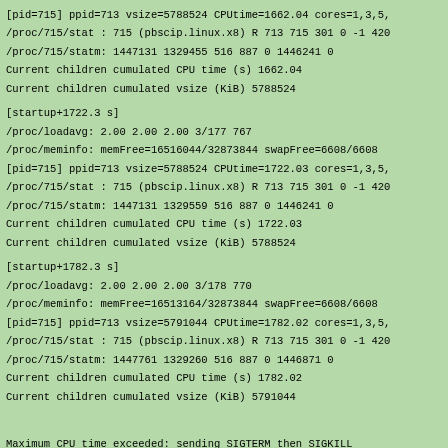[pid=715] ppid=713 vsize=5788524 CPUtime=1662.04 cores=1,3,5,
/proc/715/stat : 715 (pbscip.linux.x8) R 713 715 301 0 -1 420
/proc/715/statm: 1447131 1329455 516 887 0 1446241 0
Current children cumulated CPU time (s) 1662.04
Current children cumulated vsize (KiB) 5788524
[startup+1722.3 s]
/proc/loadavg: 2.00 2.00 2.00 3/177 767
/proc/meminfo: memFree=16516044/32873844 swapFree=6608/6608
[pid=715] ppid=713 vsize=5788524 CPUtime=1722.03 cores=1,3,5,
/proc/715/stat : 715 (pbscip.linux.x8) R 713 715 301 0 -1 420
/proc/715/statm: 1447131 1329559 516 887 0 1446241 0
Current children cumulated CPU time (s) 1722.03
Current children cumulated vsize (KiB) 5788524
[startup+1782.3 s]
/proc/loadavg: 2.00 2.00 2.00 3/178 770
/proc/meminfo: memFree=16513164/32873844 swapFree=6608/6608
[pid=715] ppid=713 vsize=5791044 CPUtime=1782.02 cores=1,3,5,
/proc/715/stat : 715 (pbscip.linux.x8) R 713 715 301 0 -1 420
/proc/715/statm: 1447761 1329260 516 887 0 1446871 0
Current children cumulated CPU time (s) 1782.02
Current children cumulated vsize (KiB) 5791044
Maximum CPU time exceeded: sending SIGTERM then SIGKILL
[startup+1800.31 s]
/proc/loadavg: 2.00 2.00 2.00 3/178 770
/proc/meminfo: memFree=16507576/32873844 swapFree=6608/6608
[pid=715] ppid=713 vsize=5792212 CPUtime=1800.03 cores=1,3,5,
/proc/715/stat : 715 (pbscip.linux.x8) R 713 715 301 0 -1 420